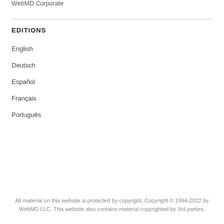WebMD Corporate
EDITIONS
English
Deutsch
Español
Français
Português
All material on this website is protected by copyright, Copyright © 1994-2022 by WebMD LLC. This website also contains material copyrighted by 3rd parties.